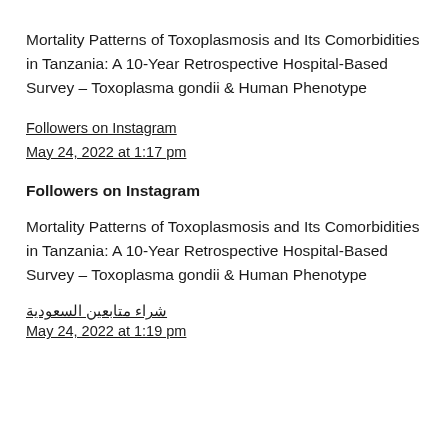Mortality Patterns of Toxoplasmosis and Its Comorbidities in Tanzania: A 10-Year Retrospective Hospital-Based Survey – Toxoplasma gondii & Human Phenotype
Followers on Instagram
May 24, 2022 at 1:17 pm
Followers on Instagram
Mortality Patterns of Toxoplasmosis and Its Comorbidities in Tanzania: A 10-Year Retrospective Hospital-Based Survey – Toxoplasma gondii & Human Phenotype
شراء متابعين السعودية
May 24, 2022 at 1:19 pm